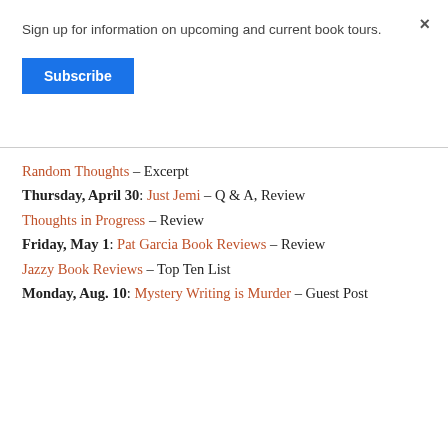Sign up for information on upcoming and current book tours.
Subscribe
Random Thoughts – Excerpt
Thursday, April 30: Just Jemi – Q & A, Review
Thoughts in Progress – Review
Friday, May 1: Pat Garcia Book Reviews – Review
Jazzy Book Reviews – Top Ten List
Monday, Aug. 10: Mystery Writing is Murder – Guest Post